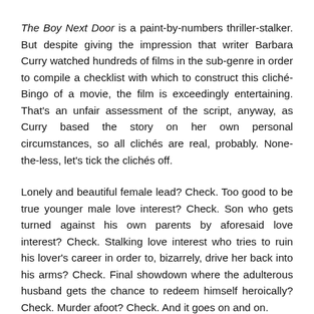The Boy Next Door is a paint-by-numbers thriller-stalker. But despite giving the impression that writer Barbara Curry watched hundreds of films in the sub-genre in order to compile a checklist with which to construct this cliché-Bingo of a movie, the film is exceedingly entertaining. That's an unfair assessment of the script, anyway, as Curry based the story on her own personal circumstances, so all clichés are real, probably. None-the-less, let's tick the clichés off.
Lonely and beautiful female lead? Check. Too good to be true younger male love interest? Check. Son who gets turned against his own parents by aforesaid love interest? Check. Stalking love interest who tries to ruin his lover's career in order to, bizarrely, drive her back into his arms? Check. Final showdown where the adulterous husband gets the chance to redeem himself heroically? Check. Murder afoot? Check. And it goes on and on.